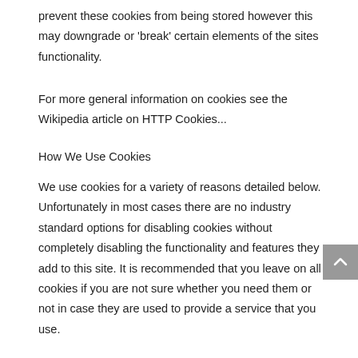prevent these cookies from being stored however this may downgrade or ‘break’ certain elements of the sites functionality.
For more general information on cookies see the Wikipedia article on HTTP Cookies...
How We Use Cookies
We use cookies for a variety of reasons detailed below. Unfortunately in most cases there are no industry standard options for disabling cookies without completely disabling the functionality and features they add to this site. It is recommended that you leave on all cookies if you are not sure whether you need them or not in case they are used to provide a service that you use.